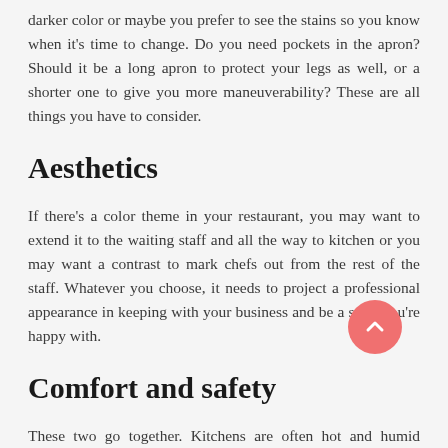darker color or maybe you prefer to see the stains so you know when it's time to change. Do you need pockets in the apron? Should it be a long apron to protect your legs as well, or a shorter one to give you more maneuverability? These are all things you have to consider.
Aesthetics
If there's a color theme in your restaurant, you may want to extend it to the waiting staff and all the way to kitchen or you may want a contrast to mark chefs out from the rest of the staff. Whatever you choose, it needs to project a professional appearance in keeping with your business and be a style you're happy with.
Comfort and safety
These two go together. Kitchens are often hot and humid environments and if you're working with